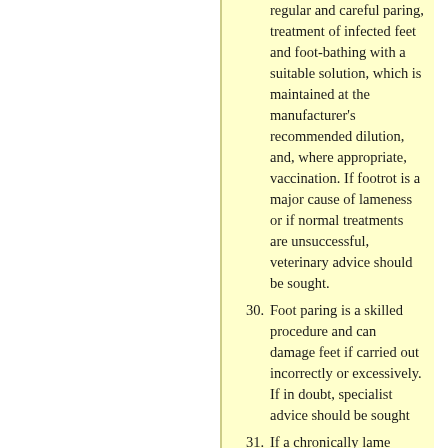(continued) regular and careful paring, treatment of infected feet and foot-bathing with a suitable solution, which is maintained at the manufacturer's recommended dilution, and, where appropriate, vaccination. If footrot is a major cause of lameness or if normal treatments are unsuccessful, veterinary advice should be sought.
30. Foot paring is a skilled procedure and can damage feet if carried out incorrectly or excessively. If in doubt, specialist advice should be sought
31. If a chronically lame sheep does not respond to remedial treatment, it should be culled and not left to suffer. As such animals cannot be transported in a way which avoids further suffering, they should be